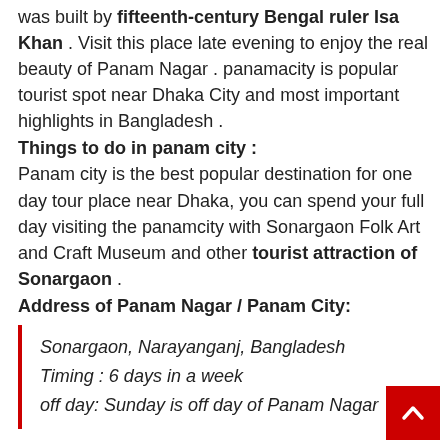was built by fifteenth-century Bengal ruler Isa Khan . Visit this place late evening to enjoy the real beauty of Panam Nagar . panamacity is popular tourist spot near Dhaka City and most important highlights in Bangladesh .
Things to do in panam city :
Panam city is the best popular destination for one day tour place near Dhaka, you can spend your full day visiting the panamcity with Sonargaon Folk Art and Craft Museum and other tourist attraction of Sonargaon .
Address of Panam Nagar / Panam City:
Sonargaon, Narayanganj, Bangladesh
Timing : 6 days in a week
off day: Sunday is off day of Panam Nagar
Entry fee of Panam City:
The entry of Panam City /Panam Nagar fo...